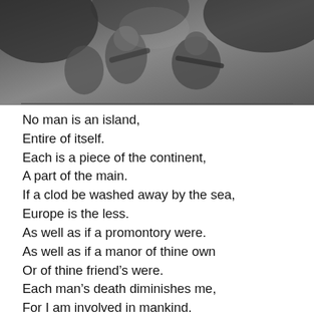[Figure (photo): Black and white photograph of soldiers or people in military/outdoor setting, cropped at top of page]
No man is an island,
Entire of itself.
Each is a piece of the continent,
A part of the main.
If a clod be washed away by the sea,
Europe is the less.
As well as if a promontory were.
As well as if a manor of thine own
Or of thine friend’s were.
Each man’s death diminishes me,
For I am involved in mankind.
Therefore, send not to know
For whom the bell tolls,